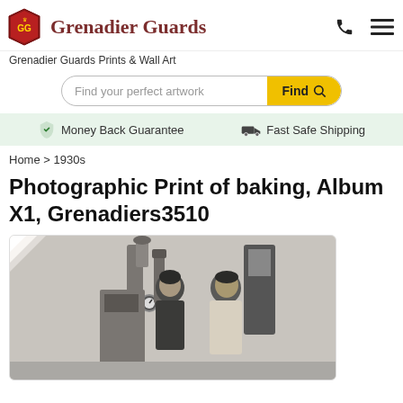Grenadier Guards
Grenadier Guards Prints & Wall Art
Find your perfect artwork Find
Money Back Guarantee   Fast Safe Shipping
Home > 1930s
Photographic Print of baking, Album X1, Grenadiers3510
[Figure (photo): Black and white photograph of two men in a bakery or industrial kitchen, standing next to large industrial equipment/machinery including pipes and gauges. One man wears a dark uniform, the other a light apron.]